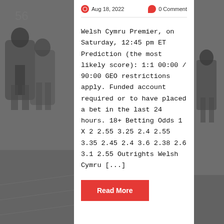[Figure (photo): Black and white photo of American football players on the left side background]
Aug 18, 2022    0 Comment
Welsh Cymru Premier, on Saturday, 12:45 pm ET Prediction (the most likely score): 1:1 00:00 / 90:00 GEO restrictions apply. Funded account required or to have placed a bet in the last 24 hours. 18+ Betting Odds 1 X 2 2.55 3.25 2.4 2.55 3.35 2.45 2.4 3.6 2.38 2.6 3.1 2.55 Outrights Welsh Cymru [...]
Read More